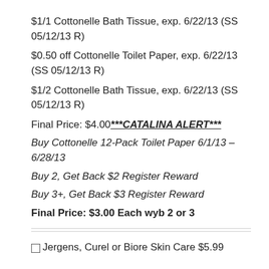$1/1 Cottonelle Bath Tissue, exp. 6/22/13 (SS 05/12/13 R)
$0.50 off Cottonelle Toilet Paper, exp. 6/22/13 (SS 05/12/13 R)
$1/2 Cottonelle Bath Tissue, exp. 6/22/13 (SS 05/12/13 R)
Final Price: $4.00***CATALINA ALERT***
Buy Cottonelle 12-Pack Toilet Paper 6/1/13 – 6/28/13
Buy 2, Get Back $2 Register Reward
Buy 3+, Get Back $3 Register Reward
Final Price: $3.00 Each wyb 2 or 3
Jergens, Curel or Biore Skin Care $5.99